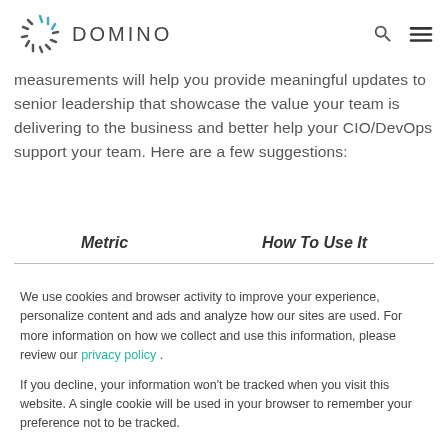DOMINO
measurements will help you provide meaningful updates to senior leadership that showcase the value your team is delivering to the business and better help your CIO/DevOps support your team. Here are a few suggestions:
| Metric | How To Use It |
| --- | --- |
We use cookies and browser activity to improve your experience, personalize content and ads and analyze how our sites are used. For more information on how we collect and use this information, please review our privacy policy .

If you decline, your information won't be tracked when you visit this website. A single cookie will be used in your browser to remember your preference not to be tracked.
Cookie preferences | Accept | Decline